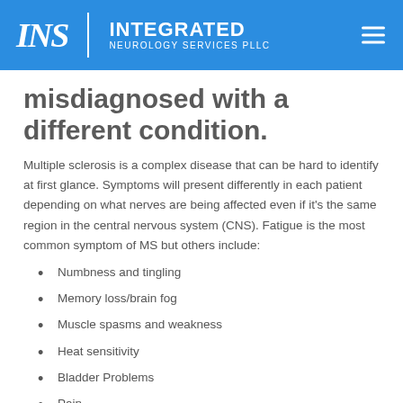INS | INTEGRATED NEUROLOGY SERVICES PLLC
misdiagnosed with a different condition.
Multiple sclerosis is a complex disease that can be hard to identify at first glance. Symptoms will present differently in each patient depending on what nerves are being affected even if it's the same region in the central nervous system (CNS). Fatigue is the most common symptom of MS but others include:
Numbness and tingling
Memory loss/brain fog
Muscle spasms and weakness
Heat sensitivity
Bladder Problems
Pain